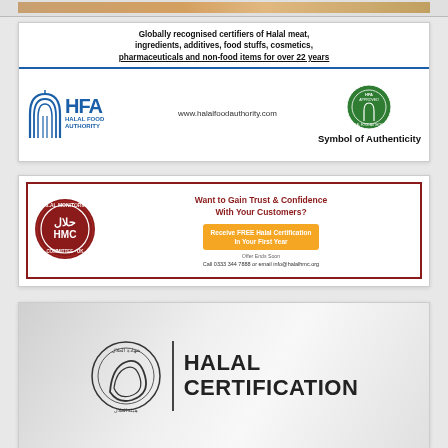[Figure (other): Top partial image strip (cropped image at very top of page)]
[Figure (other): HFA Halal Food Authority advertisement. Text: 'Globally recognised certifiers of Halal meat, ingredients, additives, food stuffs, cosmetics, pharmaceuticals and non-food items for over 22 years'. URL: www.halalfoodauthority.com. Logo: HFA HALAL FOOD AUTHORITY. Tagline: Symbol of Authenticity. Green HFA Approved seal.]
[Figure (other): HMC Halal Monitoring Committee UK advertisement. Text: 'Want to Gain Trust & Confidence With Your Customers?' Orange button: 'Receive FREE Halal Certification In Your First Year'. 'Offer Ends Soon'. 'Call 0333 344 7888 or email info@halalhmc.org'. Dark red border.]
[Figure (other): Halal Certification advertisement (partially visible at bottom). Shows circular logo and text 'HALAL CERTIFICATION']